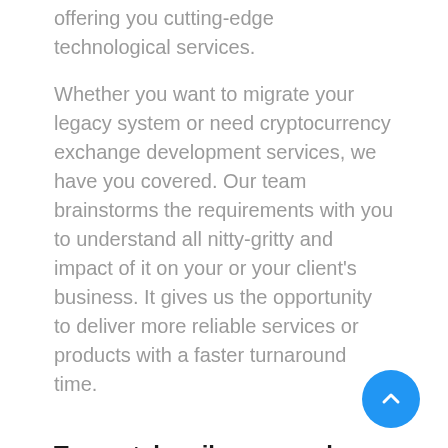offering you cutting-edge technological services.
Whether you want to migrate your legacy system or need cryptocurrency exchange development services, we have you covered. Our team brainstorms the requirements with you to understand all nitty-gritty and impact of it on your or your client's business. It gives us the opportunity to deliver more reliable services or products with a faster turnaround time.
Top-notch agile approach
To drive agility in your organization, our virtual developers follow industry-leading agile software development practices. From ideation to designing to development and deployment — our team ensures every phase follows the same standards that bring more agility. With the